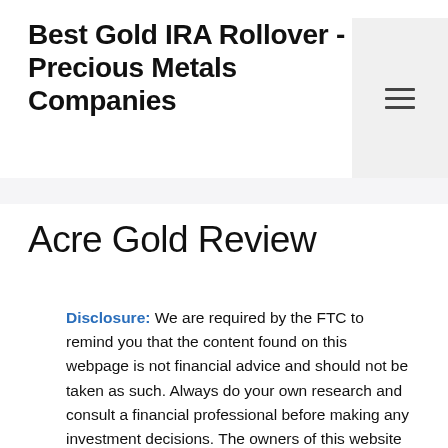Best Gold IRA Rollover - Precious Metals Companies
Acre Gold Review
Disclosure: We are required by the FTC to remind you that the content found on this webpage is not financial advice and should not be taken as such. Always do your own research and consult a financial professional before making any investment decisions. The owners of this website may be compensated by Goldco and/or any other company to recommend them. The